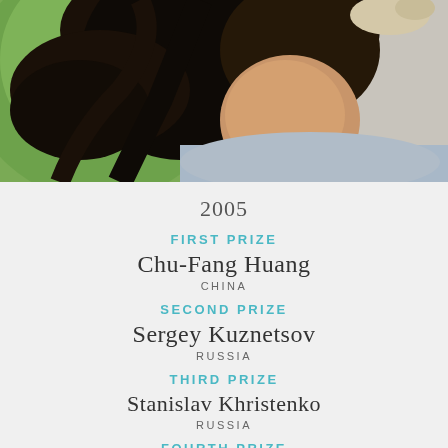[Figure (photo): Close-up photo of a young woman with long dark hair, wearing a light blue/grey top, with a green background. Only the lower portion of the face and upper body visible.]
2005
FIRST PRIZE
Chu-Fang Huang
CHINA
SECOND PRIZE
Sergey Kuznetsov
RUSSIA
THIRD PRIZE
Stanislav Khristenko
RUSSIA
FOURTH PRIZE